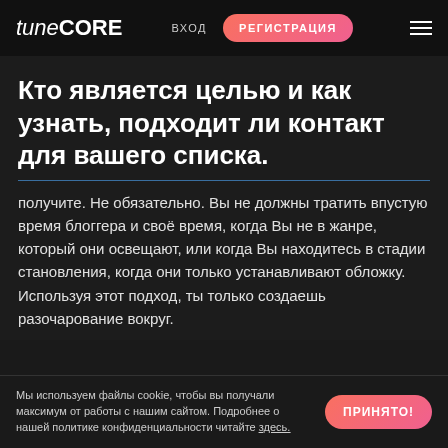tune CORE   ВХОД   РЕГИСТРАЦИЯ
Кто является целью и как узнать, подходит ли контакт для вашего списка.
получите. Не обязательно. Вы не должны тратить впустую время блоггера и своё время, когда Вы не в жанре, который они освещают, или когда Вы находитесь в стадии становления, когда они только устанавливают обложку. Используя этот подход, ты только создаешь разочарование вокруг.
Мы используем файлы cookie, чтобы вы получали максимум от работы с нашим сайтом. Подробнее о нашей политике конфиденциальности читайте здесь.